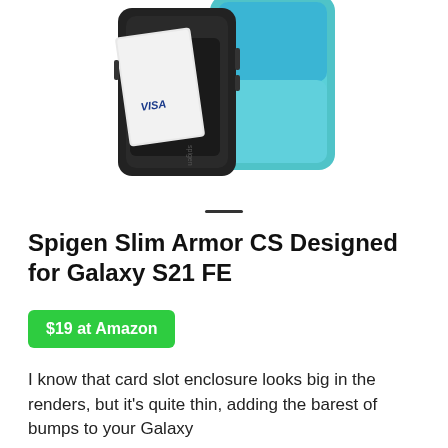[Figure (photo): Product photo of a Spigen Slim Armor CS phone case for Galaxy S21 FE in black, showing the card slot on the back with a card partially inserted, placed next to a Samsung Galaxy phone.]
Spigen Slim Armor CS Designed for Galaxy S21 FE
$19 at Amazon
I know that card slot enclosure looks big in the renders, but it's quite thin, adding the barest of bumps to your Galaxy